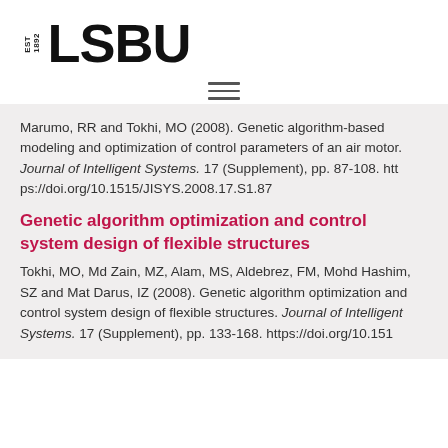EST 1892 LSBU
Marumo, RR and Tokhi, MO (2008). Genetic algorithm-based modeling and optimization of control parameters of an air motor. Journal of Intelligent Systems. 17 (Supplement), pp. 87-108. https://doi.org/10.1515/JISYS.2008.17.S1.87
Genetic algorithm optimization and control system design of flexible structures
Tokhi, MO, Md Zain, MZ, Alam, MS, Aldebrez, FM, Mohd Hashim, SZ and Mat Darus, IZ (2008). Genetic algorithm optimization and control system design of flexible structures. Journal of Intelligent Systems. 17 (Supplement), pp. 133-168. https://doi.org/10.151